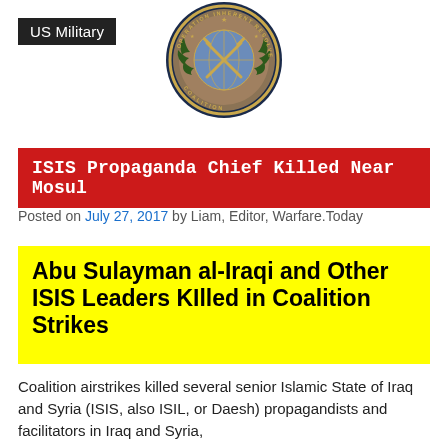US Military
[Figure (logo): Operation Inherent Resolve coalition military seal/emblem, circular with crossed swords and laurel wreath]
ISIS Propaganda Chief Killed Near Mosul
Posted on July 27, 2017 by Liam, Editor, Warfare.Today
Abu Sulayman al-Iraqi and Other ISIS Leaders KIlled in Coalition Strikes
Coalition airstrikes killed several senior Islamic State of Iraq and Syria (ISIS, also ISIL, or Daesh) propagandists and facilitators in Iraq and Syria,